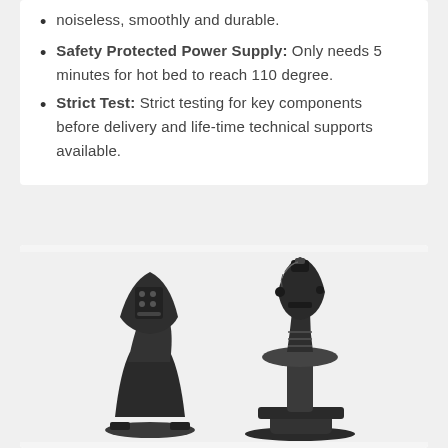noiseless, smoothly and durable.
Safety Protected Power Supply: Only needs 5 minutes for hot bed to reach 110 degree.
Strict Test: Strict testing for key components before delivery and life-time technical supports available.
[Figure (photo): Photo of two black joystick/flight controller components — a throttle unit on the left and a joystick on the right — on a light gray/white background.]